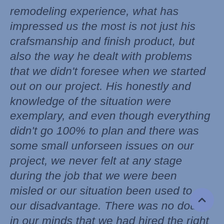remodeling experience, what has impressed us the most is not just his crafsmanship and finish product, but also the way he dealt with problems that we didn't foresee when we started out on our project. His honestly and knowledge of the situation were exemplary, and even though everything didn't go 100% to plan and there was some small unforseen issues on our project, we never felt at any stage during the job that we were been misled or our situation been used to our disadvantage. There was no doubt in our minds that we had hired the right contractor from